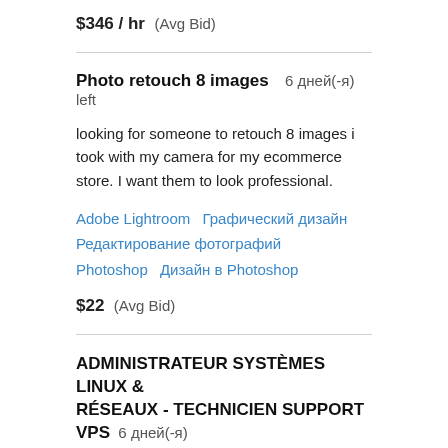$346 / hr  (Avg Bid)
Photo retouch 8 images  6 дней(-я) left
looking for someone to retouch 8 images i took with my camera for my ecommerce store. I want them to look professional.
Adobe Lightroom  Графический дизайн  Редактирование фотографий  Photoshop  Дизайн в Photoshop
$22  (Avg Bid)
ADMINISTRATEUR SYSTÈMES LINUX & RÉSEAUX - TECHNICIEN SUPPORT VPS  6 дней(-я) left
MISSIONS : Dans le cadre de son développement, LWS recherche toujours un Administrateur Systèmes Linux &